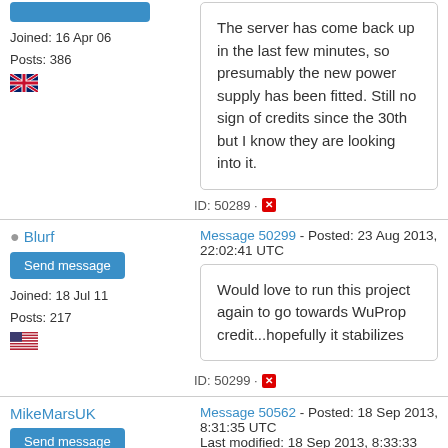Joined: 16 Apr 06
Posts: 386
The server has come back up in the last few minutes, so presumably the new power supply has been fitted. Still no sign of credits since the 30th but I know they are looking into it.
ID: 50289
Blurf
Message 50299 - Posted: 23 Aug 2013, 22:02:41 UTC
Send message
Joined: 18 Jul 11
Posts: 217
Would love to run this project again to go towards WuProp credit...hopefully it stabilizes
ID: 50299
MikeMarsUK
Message 50562 - Posted: 18 Sep 2013, 8:31:35 UTC
Last modified: 18 Sep 2013, 8:33:33 UTC
Send message